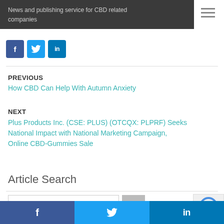News and publishing service for CBD related companies
[Figure (other): Social sharing icons: Facebook (blue), Twitter (light blue), LinkedIn (blue)]
PREVIOUS
How CBD Can Help With Autumn Anxiety
NEXT
Plus Products Inc. (CSE: PLUS) (OTCQX: PLPRF) Seeks National Impact with National Marketing Campaign, Online CBD-Gummies Sale
Article Search
[Figure (other): Search input field with placeholder 'Search Term ...' and a search button, plus reCAPTCHA widget]
Social bar: Facebook, Twitter, LinkedIn